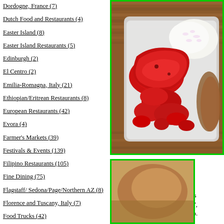Dordogne, France (7)
Dutch Food and Restaurants (4)
Easter Island (8)
Easter Island Restaurants (5)
Edinburgh (2)
El Centro (2)
Emilia-Romagna, Italy (21)
Ethiopian/Eritrean Restaurants (8)
European Restaurants (42)
Evora (4)
Farmer's Markets (39)
Festivals & Events (139)
Filipino Restaurants (105)
Fine Dining (75)
Flagstaff/ Sedona/Page/Northern AZ (8)
Florence and Tuscany, Italy (7)
Food Trucks (42)
[Figure (photo): A plastic container with red tocino meat and white rice on a bamboo mat background]
The radiation red tocino was dry and flavorless, and left me unimpressed.

The Adobo on the other hand was pretty good. Notice I say "adobo", not chicken adobo, or pork adobo. This was a combination chicken and pork adobo.
[Figure (photo): Partial view of another food dish]